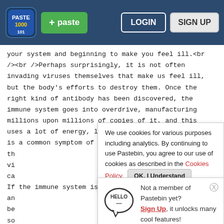[Figure (screenshot): Pastebin website navigation bar with logo, paste button, login and sign up buttons]
your system and beginning to make you feel ill.<br /><br />Perhaps surprisingly, it is not often invading viruses themselves that make us feel ill, but the body's efforts to destroy them. Once the right kind of antibody has been discovered, the immune system goes into overdrive, manufacturing millions upon millions of copies of it, and this uses a lot of energy, leading to the fatigue that is a common symptom of colds <br /><br />Boosting th vi ca If the immune system is able to quickly identify an be so other words, we get a cold and get over it without
We use cookies for various purposes including analytics. By continuing to use Pastebin, you agree to our use of cookies as described in the Cookies Policy. OK, I Understand
Not a member of Pastebin yet? Sign Up, it unlocks many cool features!